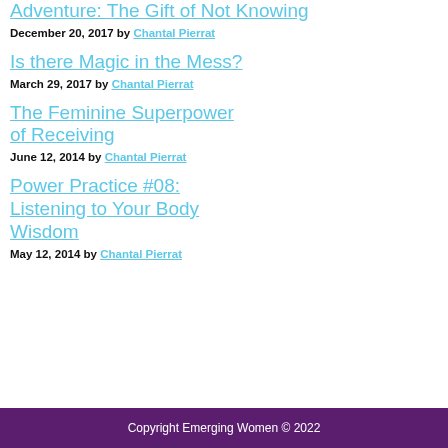Adventure: The Gift of Not Knowing
December 20, 2017 by Chantal Pierrat
Is there Magic in the Mess?
March 29, 2017 by Chantal Pierrat
The Feminine Superpower of Receiving
June 12, 2014 by Chantal Pierrat
Power Practice #08: Listening to Your Body Wisdom
May 12, 2014 by Chantal Pierrat
Copyright Emerging Women © 2022